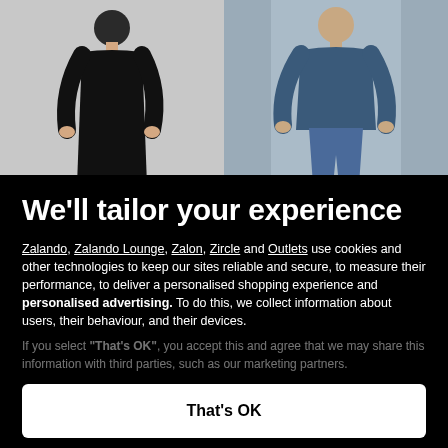[Figure (photo): Two fashion product photos side by side: left shows a person in a black long-sleeve dress/top against a light background; right shows a person in a blue/dark teal long top with jeans against a light background.]
We'll tailor your experience
Zalando, Zalando Lounge, Zalon, Zircle and Outlets use cookies and other technologies to keep our sites reliable and secure, to measure their performance, to deliver a personalised shopping experience and personalised advertising. To do this, we collect information about users, their behaviour, and their devices.
If you select "That's OK", you accept this and agree that we may share this information with third parties, such as our marketing partners.
Only essential
Set preferences
That's OK